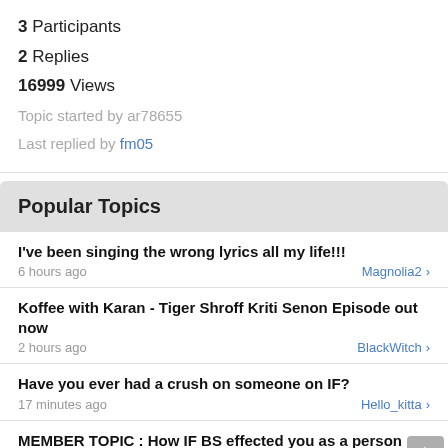3  Participants
2  Replies
16999 Views
Topic started by ar78655
Last replied by fm05
Popular Topics
I've been singing the wrong lyrics all my life!!!
6 hours ago   Magnolia2 >
Koffee with Karan - Tiger Shroff Kriti Senon Episode out now
2 hours ago   BlackWitch >
Have you ever had a crush on someone on IF?
17 minutes ago   Hello_kitta >
MEMBER TOPIC : How IF BS effected you as a person
20 hours ago   santaadmi >